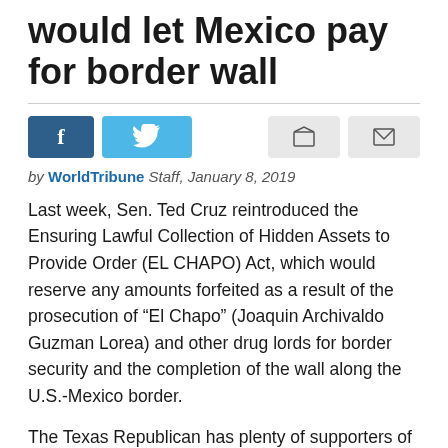would let Mexico pay for border wall
by WorldTribune Staff, January 8, 2019
Last week, Sen. Ted Cruz reintroduced the Ensuring Lawful Collection of Hidden Assets to Provide Order (EL CHAPO) Act, which would reserve any amounts forfeited as a result of the prosecution of “El Chapo” (Joaquin Archivaldo Guzman Lorea) and other drug lords for border security and the completion of the wall along the U.S.-Mexico border.
The Texas Republican has plenty of supporters of his idea which has been reported on in the past by WorldTribune. One of them is Chuck Norris.